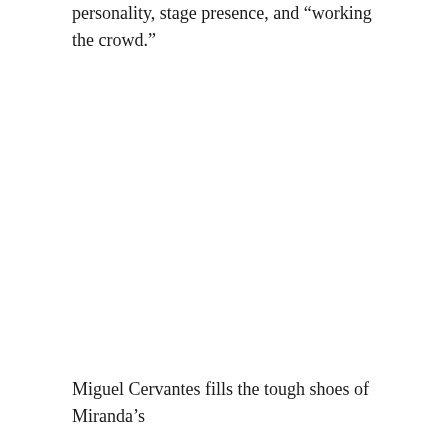personality, stage presence, and “working the crowd.”
Miguel Cervantes fills the tough shoes of Miranda’s